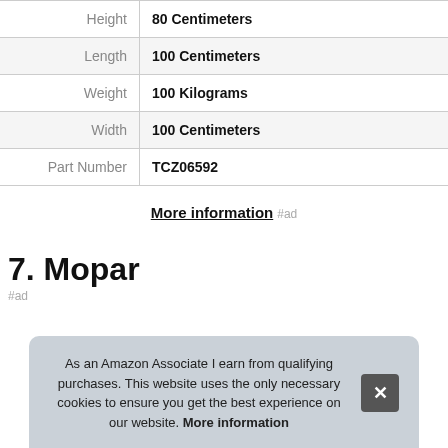| Attribute | Value |
| --- | --- |
| Height | 80 Centimeters |
| Length | 100 Centimeters |
| Weight | 100 Kilograms |
| Width | 100 Centimeters |
| Part Number | TCZ06592 |
More information #ad
7. Mopar
#ad
As an Amazon Associate I earn from qualifying purchases. This website uses the only necessary cookies to ensure you get the best experience on our website. More information